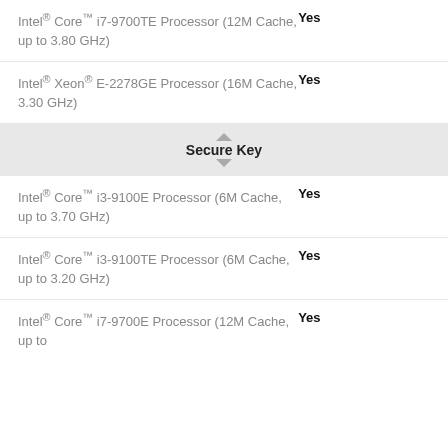Intel® Core™ i7-9700TE Processor (12M Cache, up to 3.80 GHz) — Yes
Intel® Xeon® E-2278GE Processor (16M Cache, 3.30 GHz) — Yes
Secure Key
Intel® Core™ i3-9100E Processor (6M Cache, up to 3.70 GHz) — Yes
Intel® Core™ i3-9100TE Processor (6M Cache, up to 3.20 GHz) — Yes
Intel® Core™ i7-9700E Processor (12M Cache, up to — Yes